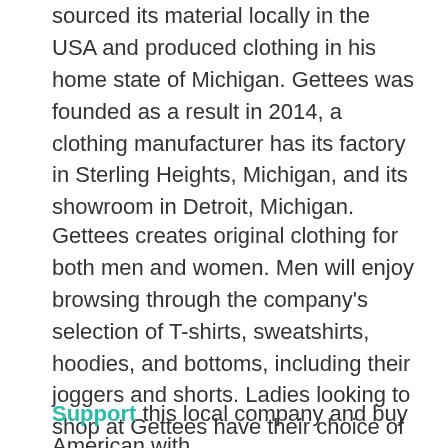sourced its material locally in the USA and produced clothing in his home state of Michigan. Gettees was founded as a result in 2014, a clothing manufacturer has its factory in Sterling Heights, Michigan, and its showroom in Detroit, Michigan.
Gettees creates original clothing for both men and women. Men will enjoy browsing through the company's selection of T-shirts, sweatshirts, hoodies, and bottoms, including their joggers and shorts. Ladies looking to shop at Gettees have their choice of similar categories of clothing, including several versions of the company's very popular sweatshirts, available in District Crew, Campus Crew, and Detroit Heritage cuts.
Support this local company and buy American with